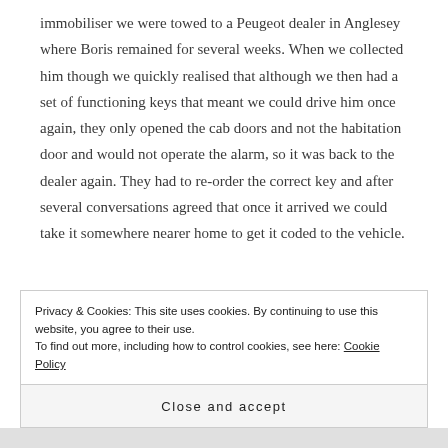immobiliser we were towed to a Peugeot dealer in Anglesey where Boris remained for several weeks. When we collected him though we quickly realised that although we then had a set of functioning keys that meant we could drive him once again, they only opened the cab doors and not the habitation door and would not operate the alarm, so it was back to the dealer again. They had to re-order the correct key and after several conversations agreed that once it arrived we could take it somewhere nearer home to get it coded to the vehicle.
Privacy & Cookies: This site uses cookies. By continuing to use this website, you agree to their use. To find out more, including how to control cookies, see here: Cookie Policy
Close and accept